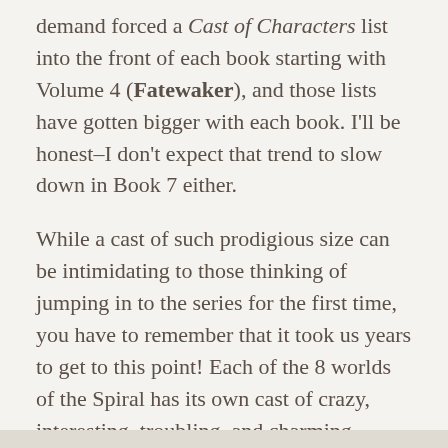demand forced a Cast of Characters list into the front of each book starting with Volume 4 (Fatewaker), and those lists have gotten bigger with each book. I'll be honest–I don't expect that trend to slow down in Book 7 either.
While a cast of such prodigious size can be intimidating to those thinking of jumping in to the series for the first time, you have to remember that it took us years to get to this point! Each of the 8 worlds of the Spiral has its own cast of crazy, interesting, troubling, and charming women and men, and it is only as we draw closer to the end that all of those casts start to interact and collide in fun ways.